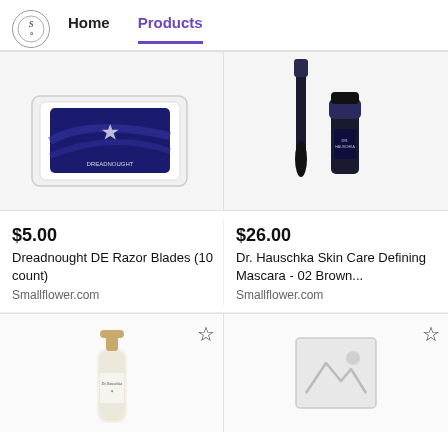Home | Products
[Figure (photo): Dreadnought DE Razor Blades box with dark blue design in white packaging]
[Figure (photo): Dr. Hauschka mascara wand and tube, black]
$5.00
Dreadnought DE Razor Blades (10 count)
Smallflower.com
$26.00
Dr. Hauschka Skin Care Defining Mascara - 02 Brown...
Smallflower.com
[Figure (photo): Dr. Hauschka serum or lotion bottle with gold/beige pump dispenser]
[Figure (photo): Placeholder image icon - broken image or no image available]